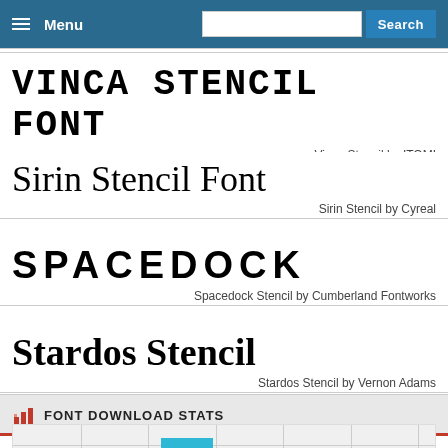Menu | Search
VINCA STENCIL FONT
Vinca Stencil by ITOMI
Sirin Stencil Font
Sirin Stencil by Cyreal
SPACEDOCK
Spacedock Stencil by Cumberland Fontworks
Stardos Stencil
Stardos Stencil by Vernon Adams
FONT DOWNLOAD STATS
[Figure (bar-chart): Partial bar chart showing font download statistics with a single visible teal/blue bar]